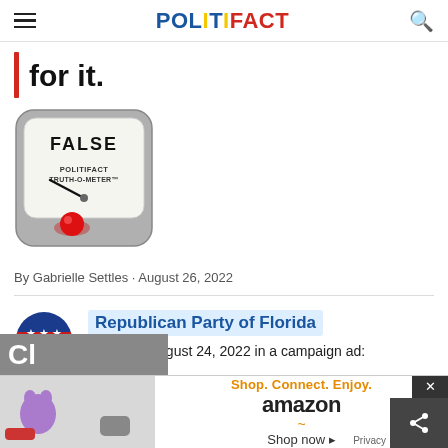POLITIFACT
for it.
[Figure (illustration): PolitiFact Truth-O-Meter gauge showing FALSE rating with needle pointing left and red button at bottom]
By Gabrielle Settles · August 26, 2022
Republican Party of Florida stated on August 24, 2022 in a campaign ad:
[Figure (other): Amazon advertisement: Shop. Connect. Enjoy. Shop now with Amazon logo and product images]